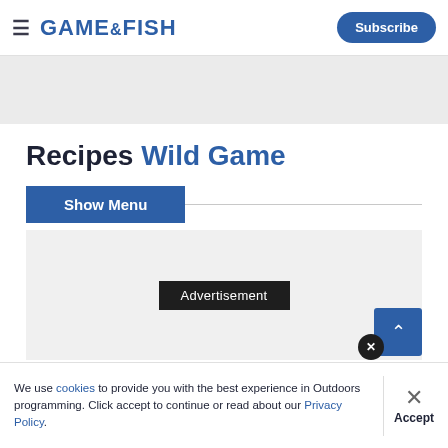GAME&FISH | Subscribe
[Figure (other): Gray advertisement banner area at top of page below navigation]
Recipes Wild Game
Show Menu
[Figure (other): Large gray content/advertisement area with 'Advertisement' label overlay]
We use cookies to provide you with the best experience in Outdoors programming. Click accept to continue or read about our Privacy Policy.